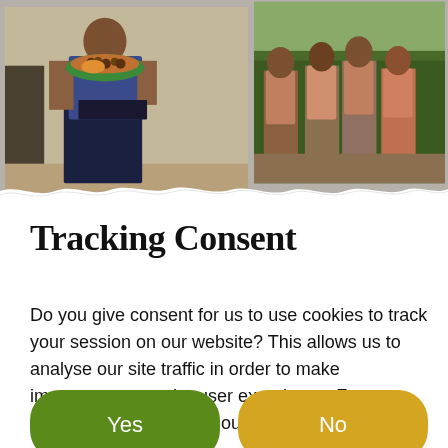[Figure (photo): Two photos side by side: left photo shows a person holding a bowl/plate with food items including nuts and orange/yellow produce; right photo shows a group of people standing in a field or garden area with green vegetation.]
Tracking Consent
Do you give consent for us to use cookies to track your session on our website? This allows us to analyse our site traffic in order to make improvements to the user experience. For more information, please see our Privacy Policy.
Yes
No